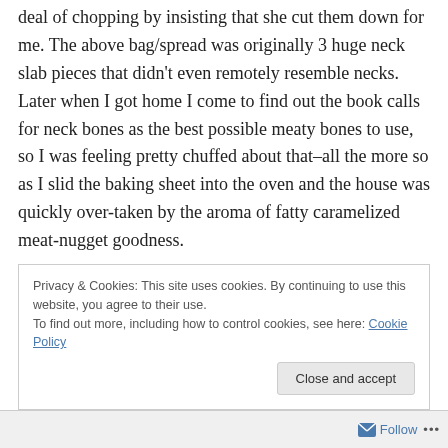deal of chopping by insisting that she cut them down for me. The above bag/spread was originally 3 huge neck slab pieces that didn't even remotely resemble necks. Later when I got home I come to find out the book calls for neck bones as the best possible meaty bones to use, so I was feeling pretty chuffed about that–all the more so as I slid the baking sheet into the oven and the house was quickly over-taken by the aroma of fatty caramelized meat-nugget goodness.
Privacy & Cookies: This site uses cookies. By continuing to use this website, you agree to their use.
To find out more, including how to control cookies, see here: Cookie Policy
Close and accept
Follow ···